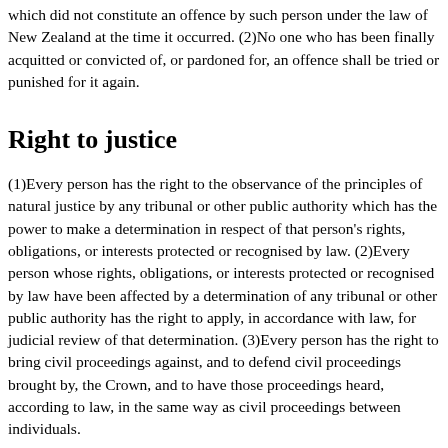which did not constitute an offence by such person under the law of New Zealand at the time it occurred. (2)No one who has been finally acquitted or convicted of, or pardoned for, an offence shall be tried or punished for it again.
Right to justice
(1)Every person has the right to the observance of the principles of natural justice by any tribunal or other public authority which has the power to make a determination in respect of that person's rights, obligations, or interests protected or recognised by law. (2)Every person whose rights, obligations, or interests protected or recognised by law have been affected by a determination of any tribunal or other public authority has the right to apply, in accordance with law, for judicial review of that determination. (3)Every person has the right to bring civil proceedings against, and to defend civil proceedings brought by, the Crown, and to have those proceedings heard, according to law, in the same way as civil proceedings between individuals.